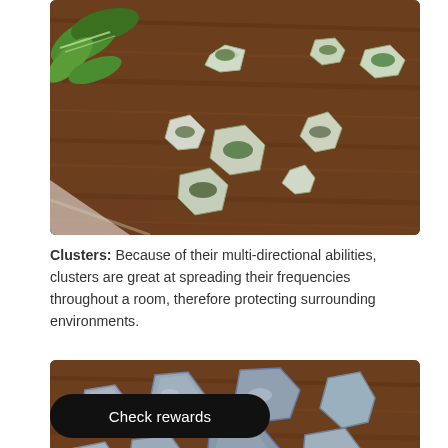[Figure (photo): Multiple small raw/rough crystal and mineral specimens (green and clear) scattered on a dark wooden surface with a green plant leaf visible in the upper left corner]
Clusters: Because of their multi-directional abilities, clusters are great at spreading their frequencies throughout a room, therefore protecting surrounding environments.
[Figure (photo): Multiple rough blue-grey mineral/crystal chunks scattered on a dark wooden surface]
Check rewards